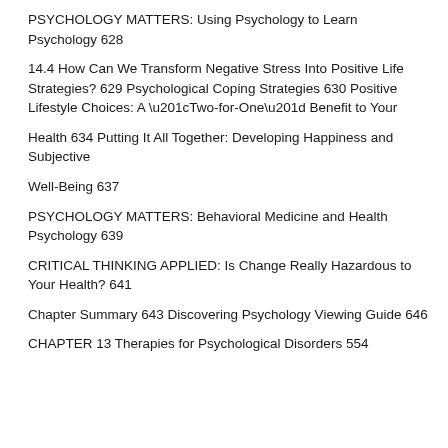PSYCHOLOGY MATTERS: Using Psychology to Learn Psychology 628
14.4 How Can We Transform Negative Stress Into Positive Life Strategies? 629 Psychological Coping Strategies 630 Positive Lifestyle Choices: A “Two-for-One” Benefit to Your
Health 634 Putting It All Together: Developing Happiness and Subjective
Well-Being 637
PSYCHOLOGY MATTERS: Behavioral Medicine and Health Psychology 639
CRITICAL THINKING APPLIED: Is Change Really Hazardous to Your Health? 641
Chapter Summary 643 Discovering Psychology Viewing Guide 646
CHAPTER 13 Therapies for Psychological Disorders 554